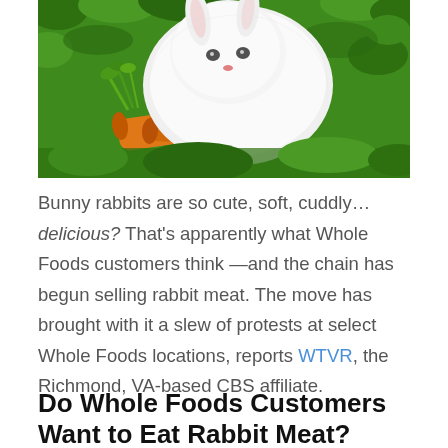[Figure (photo): A white fluffy bunny rabbit sitting among green leafy plants with orange carrots in front of it, photographed outdoors.]
Bunny rabbits are so cute, soft, cuddly… delicious? That's apparently what Whole Foods customers think —and the chain has begun selling rabbit meat. The move has brought with it a slew of protests at select Whole Foods locations, reports WTVR, the Richmond, VA-based CBS affiliate.
Do Whole Foods Customers Want to Eat Rabbit Meat?